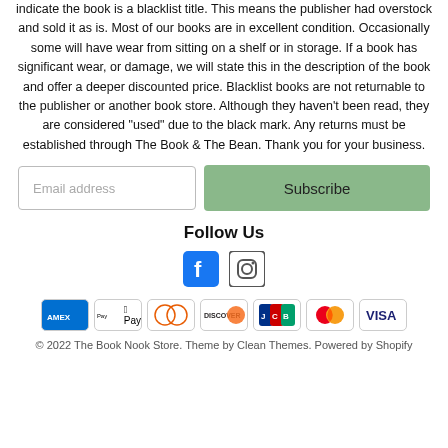indicate the book is a blacklist title. This means the publisher had overstock and sold it as is. Most of our books are in excellent condition. Occasionally some will have wear from sitting on a shelf or in storage. If a book has significant wear, or damage, we will state this in the description of the book and offer a deeper discounted price. Blacklist books are not returnable to the publisher or another book store. Although they haven't been read, they are considered "used" due to the black mark. Any returns must be established through The Book & The Bean. Thank you for your business.
Follow Us
[Figure (infographic): Facebook and Instagram social media icons]
[Figure (infographic): Payment method icons: American Express, Apple Pay, Diners Club, Discover, JCB, Mastercard, Visa]
© 2022 The Book Nook Store. Theme by Clean Themes. Powered by Shopify